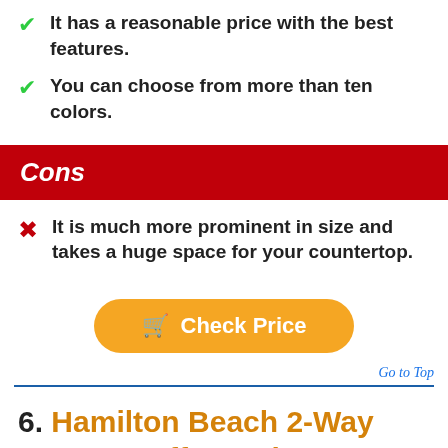It has a reasonable price with the best features.
You can choose from more than ten colors.
Cons
It is much more prominent in size and takes a huge space for your countertop.
Check Price
Go to Top
6. Hamilton Beach 2-Way Brewer Coffee Maker